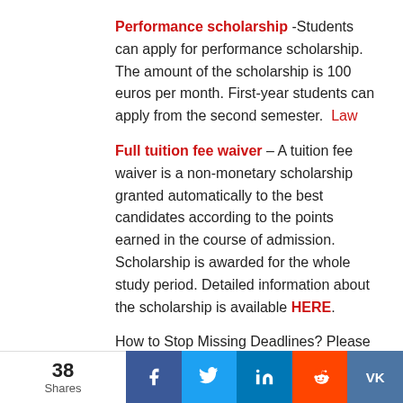Performance scholarship -Students can apply for performance scholarship. The amount of the scholarship is 100 euros per month. First-year students can apply from the second semester.  Law
Full tuition fee waiver – A tuition fee waiver is a non-monetary scholarship granted automatically to the best candidates according to the points earned in the course of admission. Scholarship is awarded for the whole study period. Detailed information about the scholarship is available HERE.
How to Stop Missing Deadlines? Please Follow
38 Shares | Facebook | Twitter | LinkedIn | Reddit | VK